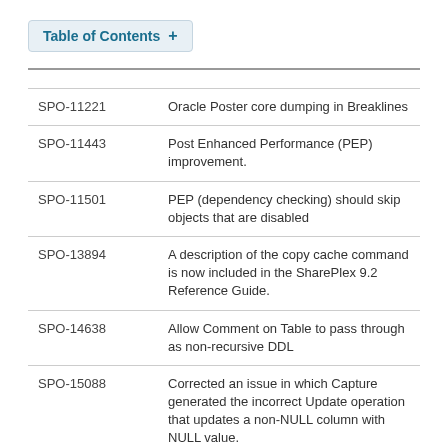Table of Contents +
| ID | Description |
| --- | --- |
| SPO-11221 | Oracle Poster core dumping in Breaklines |
| SPO-11443 | Post Enhanced Performance (PEP) improvement. |
| SPO-11501 | PEP (dependency checking) should skip objects that are disabled |
| SPO-13894 | A description of the copy cache command is now included in the SharePlex 9.2 Reference Guide. |
| SPO-14638 | Allow Comment on Table to pass through as non-recursive DDL |
| SPO-15088 | Corrected an issue in which Capture generated the incorrect Update operation that updates a non-NULL column with NULL value. |
| SPO-15449 | Corrected an issue in which detecting Kafka supported versions fails for SUSE Linux. |